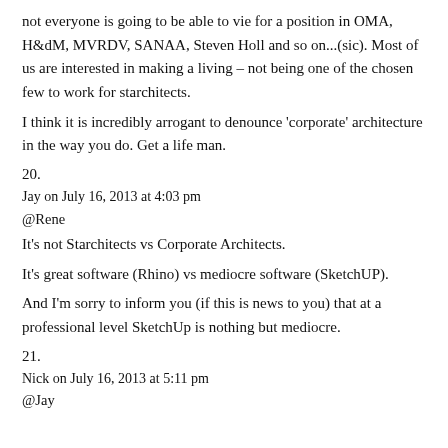not everyone is going to be able to vie for a position in OMA, H&dM, MVRDV, SANAA, Steven Holl and so on...(sic). Most of us are interested in making a living – not being one of the chosen few to work for starchitects.
I think it is incredibly arrogant to denounce 'corporate' architecture in the way you do. Get a life man.
20.
Jay on July 16, 2013 at 4:03 pm
@Rene
It's not Starchitects vs Corporate Architects.
It's great software (Rhino) vs mediocre software (SketchUP).
And I'm sorry to inform you (if this is news to you) that at a professional level SketchUp is nothing but mediocre.
21.
Nick on July 16, 2013 at 5:11 pm
@Jay